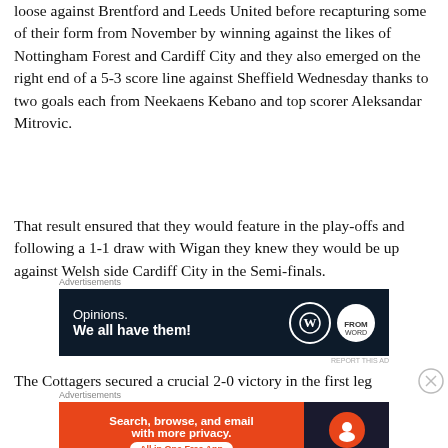loose against Brentford and Leeds United before recapturing some of their form from November by winning against the likes of Nottingham Forest and Cardiff City and they also emerged on the right end of a 5-3 score line against Sheffield Wednesday thanks to two goals each from Neekaens Kebano and top scorer Aleksandar Mitrovic.
That result ensured that they would feature in the play-offs and following a 1-1 draw with Wigan they knew they would be up against Welsh side Cardiff City in the Semi-finals.
[Figure (other): Advertisement banner: dark navy background with text 'Opinions. We all have them!' and WordPress and another circular logo on the right.]
The Cottagers secured a crucial 2-0 victory in the first leg
[Figure (other): Advertisement banner: orange left section with text 'Search, browse, and email with more privacy. All in One Free App' and DuckDuckGo logo on dark right section.]